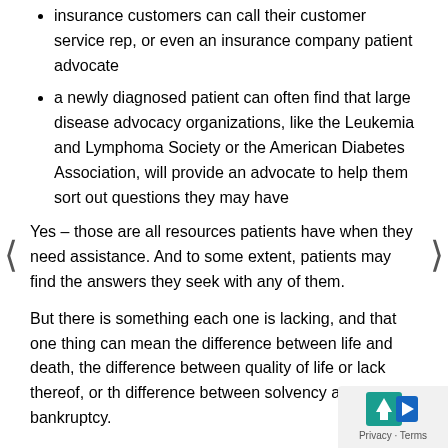insurance customers can call their customer service rep, or even an insurance company patient advocate
a newly diagnosed patient can often find that large disease advocacy organizations, like the Leukemia and Lymphoma Society or the American Diabetes Association, will provide an advocate to help them sort out questions they may have
Yes – those are all resources patients have when they need assistance. And to some extent, patients may find the answers they seek with any of them.
But there is something each one is lacking, and that one thing can mean the difference between life and death, the difference between quality of life or lack thereof, or the difference between solvency and bankruptcy.